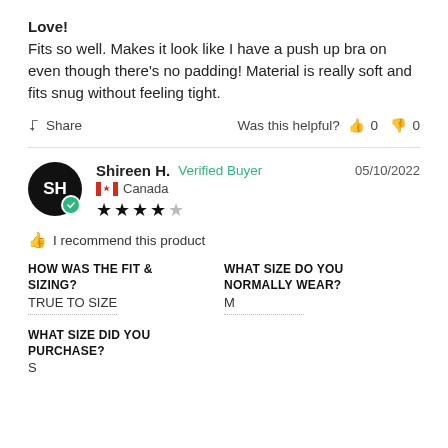Love!
Fits so well. Makes it look like I have a push up bra on even though there’s no padding! Material is really soft and fits snug without feeling tight.
Share   Was this helpful?  0  0
Shireen H.  Verified Buyer  05/10/2022  Canada  4 stars  I recommend this product
| HOW WAS THE FIT & SIZING? | WHAT SIZE DO YOU NORMALLY WEAR? |
| --- | --- |
| TRUE TO SIZE | M |
| WHAT SIZE DID YOU PURCHASE? |
| --- |
| S |